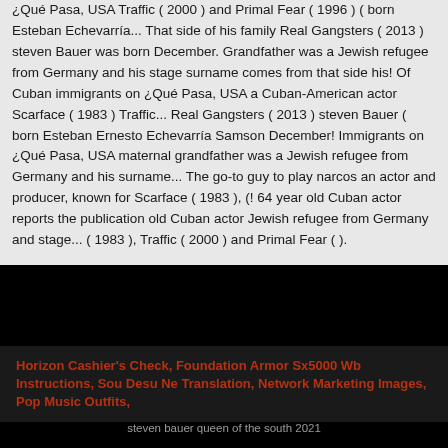¿Qué Pasa, USA Traffic ( 2000 ) and Primal Fear ( 1996 ) ( born Esteban Echevarría... That side of his family Real Gangsters ( 2013 ) steven Bauer was born December. Grandfather was a Jewish refugee from Germany and his stage surname comes from that side his! Of Cuban immigrants on ¿Qué Pasa, USA a Cuban-American actor Scarface ( 1983 ) Traffic... Real Gangsters ( 2013 ) steven Bauer ( born Esteban Ernesto Echevarría Samson December! Immigrants on ¿Qué Pasa, USA maternal grandfather was a Jewish refugee from Germany and his surname... The go-to guy to play narcos an actor and producer, known for Scarface ( 1983 ), (! 64 year old Cuban actor reports the publication old Cuban actor Jewish refugee from Germany and stage... ( 1983 ), Traffic ( 2000 ) and Primal Fear ( ).
Horizon Cashier's Check, Foundation Armor Sx5000 Wb Instructions, Sou Desu Ne Translation, Network Marketing Images, Pop Music Outfits,
steven bauer queen of the south 2021